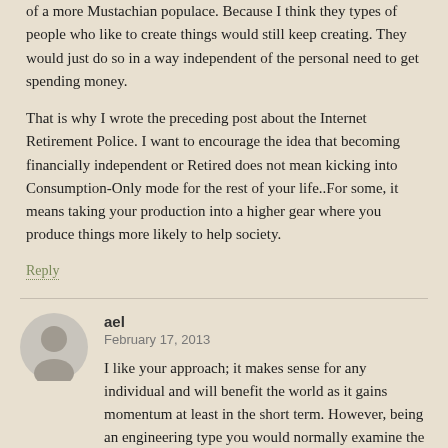of a more Mustachian populace. Because I think they types of people who like to create things would still keep creating. They would just do so in a way independent of the personal need to get spending money.
That is why I wrote the preceding post about the Internet Retirement Police. I want to encourage the idea that becoming financially independent or Retired does not mean kicking into Consumption-Only mode for the rest of your life..For some, it means taking your production into a higher gear where you produce things more likely to help society.
Reply
ael
February 17, 2013
I like your approach; it makes sense for any individual and will benefit the world as it gains momentum at least in the short term. However, being an engineering type you would normally examine the potential downside of a huge adoption of a certain plan as well as the upside